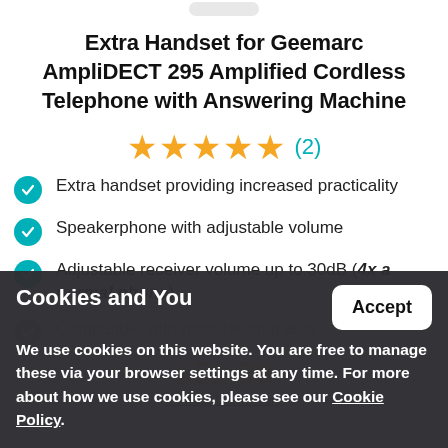[Figure (photo): Partial product image at top of page (cropped)]
Extra Handset for Geemarc AmpliDECT 295 Amplified Cordless Telephone with Answering Machine
[Figure (other): 5 gold star rating with (2) review count in teal]
Extra handset providing increased practicality
Speakerphone with adjustable volume
Adjustable receiver volume up to 30dB (4x a normal phone)
Compatible with most hearing aids
£52.99
+ FREE UK delivery
Cookies and You
We use cookies on this website. You are free to manage these via your browser settings at any time. For more about how we use cookies, please see our Cookie Policy.